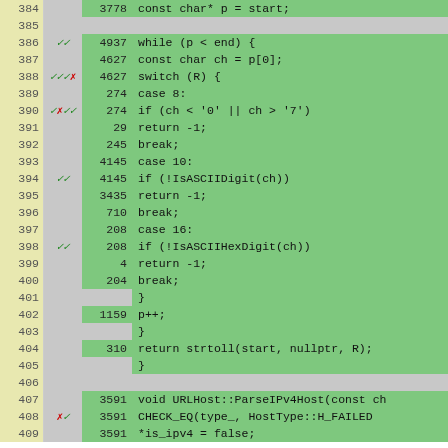[Figure (screenshot): Code coverage view showing C++ source lines 384-409 with line numbers, coverage markers (checkmarks/X), execution counts, and syntax-highlighted code on green (covered) or gray (uncovered) backgrounds.]